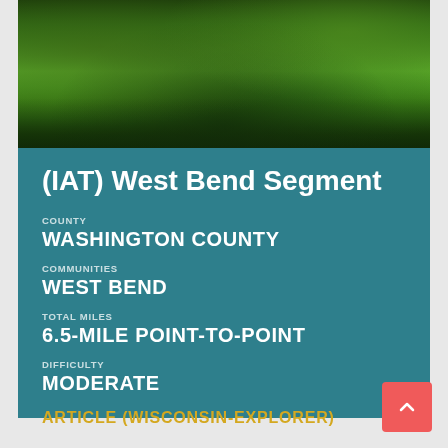[Figure (photo): Forest trail photo with green trees and a stream or pond visible through the trees]
(IAT) West Bend Segment
COUNTY
WASHINGTON COUNTY
COMMUNITIES
WEST BEND
TOTAL MILES
6.5-MILE POINT-TO-POINT
DIFFICULTY
MODERATE
ARTICLE (WISCONSIN-EXPLORER)